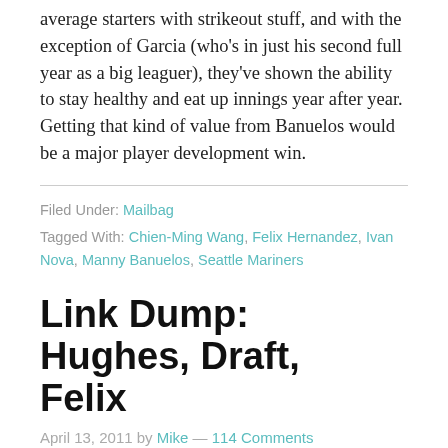average starters with strikeout stuff, and with the exception of Garcia (who's in just his second full year as a big leaguer), they've shown the ability to stay healthy and eat up innings year after year. Getting that kind of value from Banuelos would be a major player development win.
Filed Under: Mailbag
Tagged With: Chien-Ming Wang, Felix Hernandez, Ivan Nova, Manny Banuelos, Seattle Mariners
Link Dump: Hughes, Draft, Felix
April 13, 2011 by Mike — 114 Comments